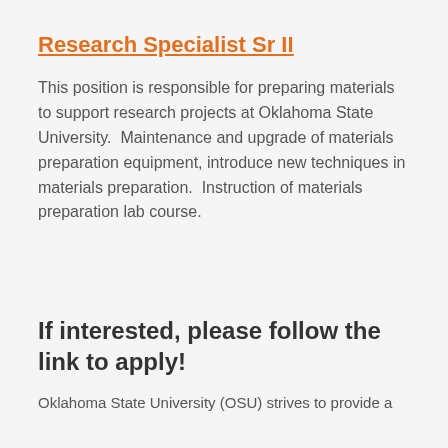Research Specialist Sr II
This position is responsible for preparing materials to support research projects at Oklahoma State University.  Maintenance and upgrade of materials preparation equipment, introduce new techniques in materials preparation.  Instruction of materials preparation lab course.
If interested, please follow the link to apply!
Oklahoma State University (OSU) strives to provide a